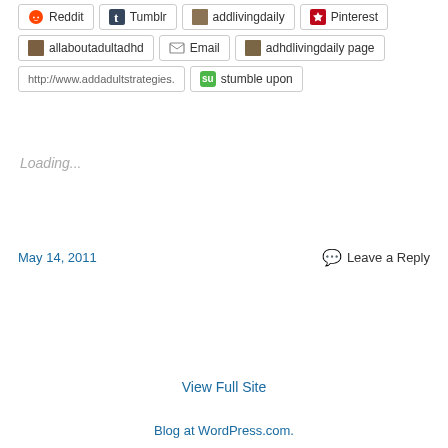Reddit | Tumblr | addlivingdaily | Pinterest
allaboutadultadhd | Email | adhdlivingdaily page
http://www.addadultstrategies. | stumble upon
Loading...
May 14, 2011
Leave a Reply
View Full Site
Blog at WordPress.com.